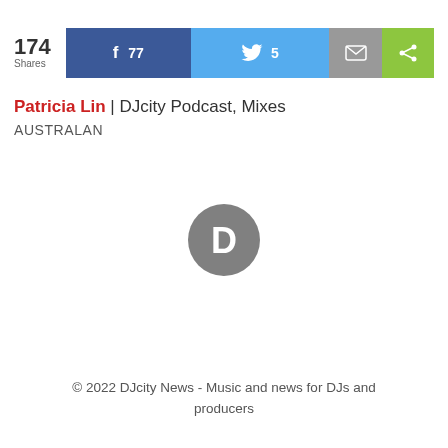[Figure (infographic): Social share bar showing 174 Shares, Facebook button with 77 shares, Twitter button with 5 shares, Email button, and Share button]
Patricia Lin | DJcity Podcast, Mixes
AUSTRALAN
[Figure (logo): Disqus logo - grey speech bubble with letter D]
© 2022 DJcity News - Music and news for DJs and producers